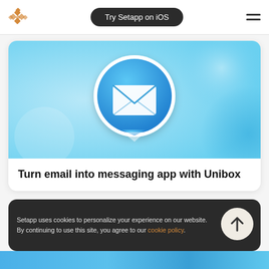[Figure (logo): Setapp orange diamond logo in header]
Try Setapp on iOS
[Figure (screenshot): App icon for Unibox: a blue speech bubble with a white envelope icon, on a teal/light blue bokeh background]
Turn email into messaging app with Unibox
Setapp uses cookies to personalize your experience on our website. By continuing to use this site, you agree to our cookie policy.
[Figure (illustration): Scroll-to-top button: circular light beige button with upward arrow]